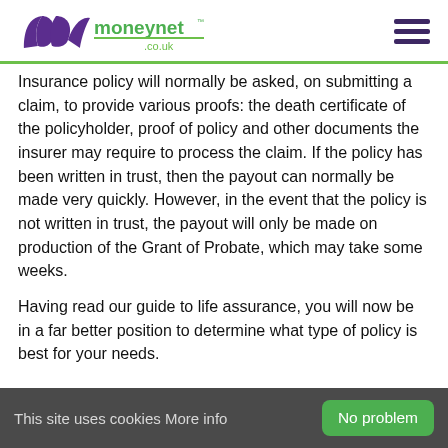[Figure (logo): Moneynet.co.uk logo with purple swoosh mark and green underline]
Insurance policy will normally be asked, on submitting a claim, to provide various proofs: the death certificate of the policyholder, proof of policy and other documents the insurer may require to process the claim. If the policy has been written in trust, then the payout can normally be made very quickly. However, in the event that the policy is not written in trust, the payout will only be made on production of the Grant of Probate, which may take some weeks.
Having read our guide to life assurance, you will now be in a far better position to determine what type of policy is best for your needs.
This site uses cookies More info   No problem